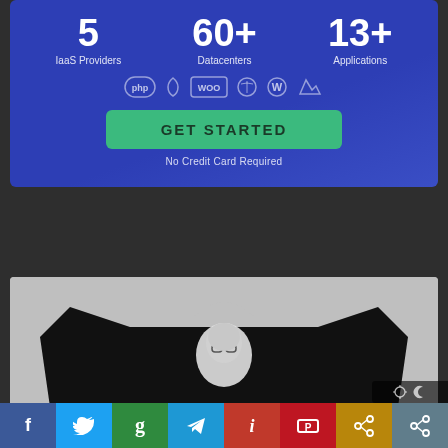[Figure (infographic): Blue banner ad showing stats: 5 IaaS Providers, 60+ Datacenters, 13+ Applications. Icons for PHP, Magento, WooCommerce, Drupal, WordPress, Laravel. Green GET STARTED button. No Credit Card Required text.]
[Figure (photo): Black t-shirt with a grayscale silhouette portrait of an elderly man wearing glasses, displayed on a light gray background.]
[Figure (infographic): Social share bar with icons for Facebook, Twitter, Google, Telegram, an app icon, PushPush, and share. Dark mode toggle icons at top right.]